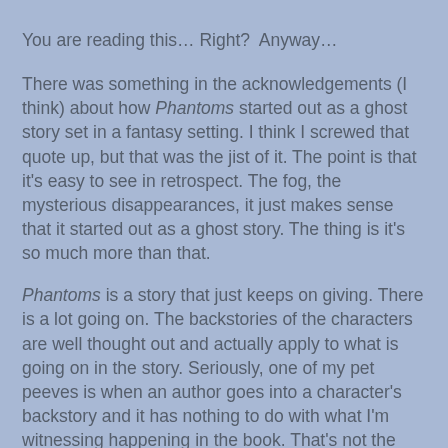You are reading this… Right?  Anyway…
There was something in the acknowledgements (I think) about how Phantoms started out as a ghost story set in a fantasy setting. I think I screwed that quote up, but that was the jist of it. The point is that it's easy to see in retrospect. The fog, the mysterious disappearances, it just makes sense that it started out as a ghost story. The thing is it's so much more than that.
Phantoms is a story that just keeps on giving. There is a lot going on. The backstories of the characters are well thought out and actually apply to what is going on in the story. Seriously, one of my pet peeves is when an author goes into a character's backstory and it has nothing to do with what I'm witnessing happening in the book. That's not the case here. Everything has relevance to the story we're reading and helps to move it forward.
The thing that makes Phantoms better than Scooby Doo is that the action sequences are far more intense and the consequences of them are real. This is a story that you can feel in your gut.